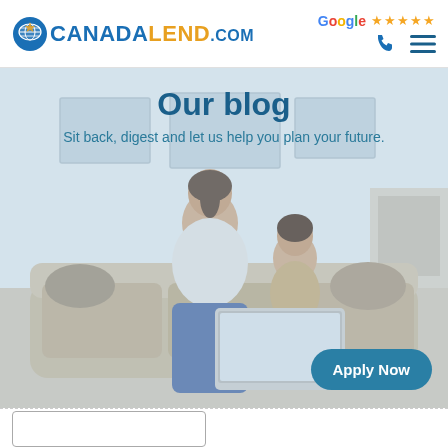CANADALEND.COM — Google ★★★★★
Our blog
Sit back, digest and let us help you plan your future.
[Figure (photo): Mother and young child sitting on a couch looking at a laptop computer together, in a bright living room setting. The image is used as a hero background for the CanadaLend.com blog page.]
Apply Now